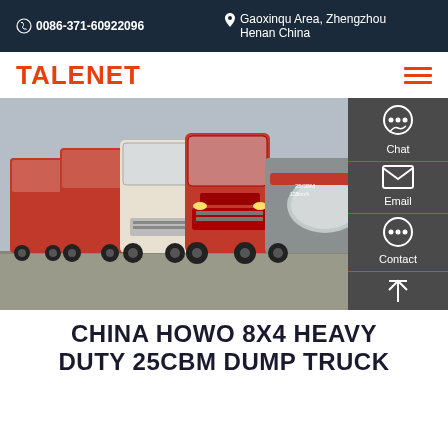0086-371-60922096   Gaoxinqu Area, Zhengzhou Henan China
TALENET
[Figure (photo): A row of red and white HOWO heavy-duty trucks parked in a lot, viewed from the front-left angle. A silver tank truck is visible in the background on the right.]
CHINA HOWO 8X4 HEAVY DUTY 25CBM DUMP TRUCK